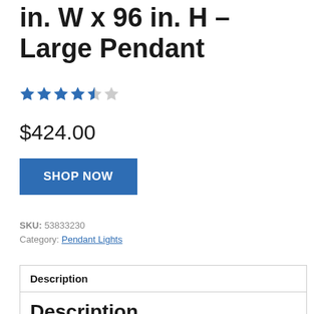in. W x 96 in. H – Large Pendant
[Figure (other): Star rating: 4.5 out of 5 stars (4 full stars, 1 half star, 1 empty star)]
$424.00
SHOP NOW
SKU: 53833230
Category: Pendant Lights
| Description |
| --- |
| Description |